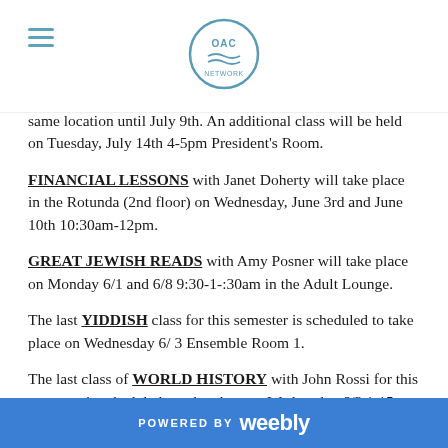[Figure (logo): OAC circular logo with blue border and text, centered in page header]
same location until July 9th. An additional class will be held on Tuesday, July 14th 4-5pm President's Room.
FINANCIAL LESSONS with Janet Doherty will take place in the Rotunda (2nd floor) on Wednesday, June 3rd and June 10th 10:30am-12pm.
GREAT JEWISH READS with Amy Posner will take place on Monday 6/1 and 6/8 9:30-1-:30am in the Adult Lounge.
The last YIDDISH class for this semester is scheduled to take place on Wednesday 6/ 3 Ensemble Room 1.
The last class of WORLD HISTORY with John Rossi for this semester is scheduled to take place on Wednesday 6/3 1:15-2:15pm in the President's Room.
POWERED BY weebly